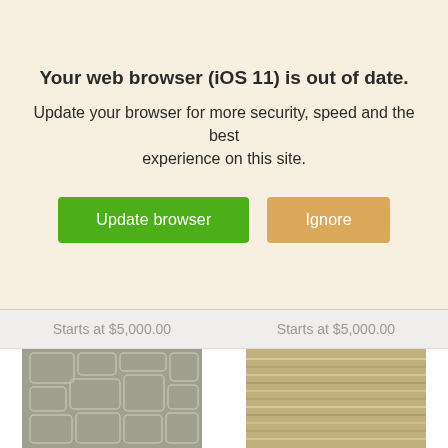Your web browser (iOS 11) is out of date.
Update your browser for more security, speed and the best experience on this site.
Update browser | Ignore
Starts at $5,000.00
Starts at $5,000.00
[Figure (photo): Left rug product image: grey stone-pattern textured rug]
[Figure (photo): Right rug product image: beige horizontal-stripe textured rug]